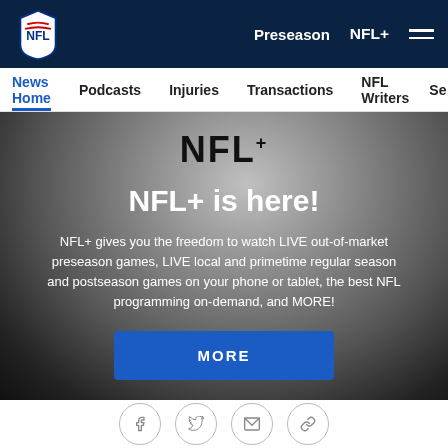NFL Navigation Bar - Preseason, NFL+, Menu
News Home | Podcasts | Injuries | Transactions | NFL Writers | Se...
[Figure (infographic): NFL+ promotional banner with dark gradient background showing NFL+ logo, headline 'NFL+ is here!', descriptive text about live games and programming, and a blue MORE button]
[Figure (other): Social sharing icons: Facebook, Twitter, Email, Link]